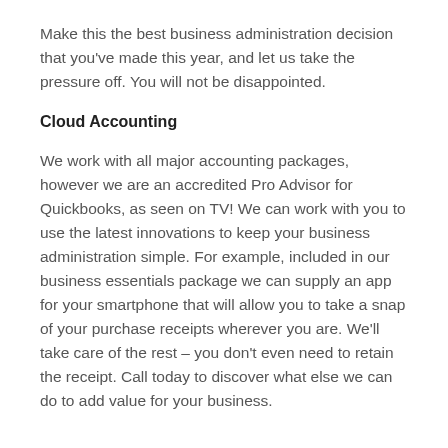Make this the best business administration decision that you've made this year, and let us take the pressure off. You will not be disappointed.
Cloud Accounting
We work with all major accounting packages, however we are an accredited Pro Advisor for Quickbooks, as seen on TV! We can work with you to use the latest innovations to keep your business administration simple. For example, included in our business essentials package we can supply an app for your smartphone that will allow you to take a snap of your purchase receipts wherever you are. We'll take care of the rest – you don't even need to retain the receipt. Call today to discover what else we can do to add value for your business.